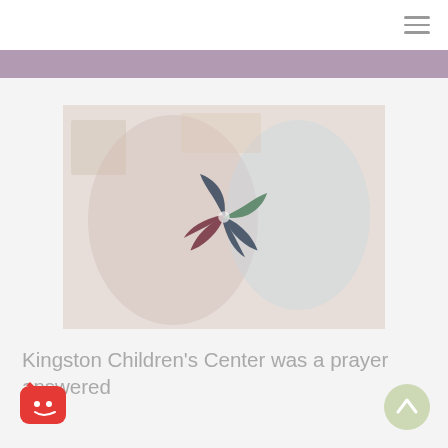[Figure (illustration): Hamburger/menu icon (three horizontal lines) in top right corner of navigation bar]
[Figure (photo): Photo of two smiling children (a girl with blonde hair and a boy) with a semi-transparent pinwheel logo overlay centered on the image. The photo has a light washed-out/faded appearance.]
Kingston Children’s Center was a prayer answered
[Figure (logo): Small red rounded-rectangle chat/bot icon with a smiley face, bottom left corner]
[Figure (other): Light green circular scroll-to-top button with an upward arrow, bottom right corner]